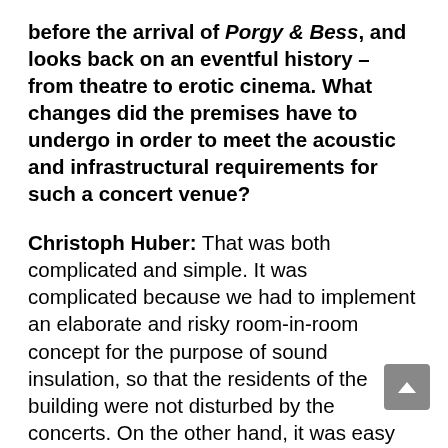before the arrival of Porgy & Bess, and looks back on an eventful history – from theatre to erotic cinema. What changes did the premises have to undergo in order to meet the acoustic and infrastructural requirements for such a concert venue?
Christoph Huber: That was both complicated and simple. It was complicated because we had to implement an elaborate and risky room-in-room concept for the purpose of sound insulation, so that the residents of the building were not disturbed by the concerts. On the other hand, it was easy because there was no other way anyway! Besides, the venue was in an absolutely desolate state. So we tore everything out, and with a lot of material that absorbs the vibrations without passing them